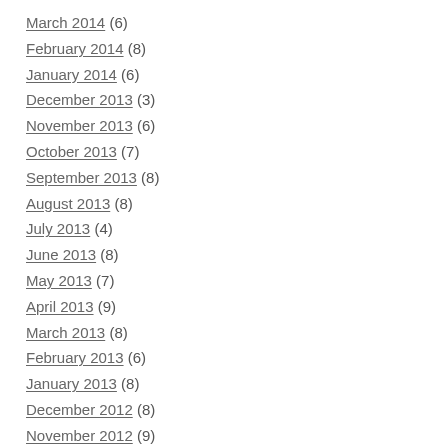March 2014 (6)
February 2014 (8)
January 2014 (6)
December 2013 (3)
November 2013 (6)
October 2013 (7)
September 2013 (8)
August 2013 (8)
July 2013 (4)
June 2013 (8)
May 2013 (7)
April 2013 (9)
March 2013 (8)
February 2013 (6)
January 2013 (8)
December 2012 (8)
November 2012 (9)
October 2012 (8)